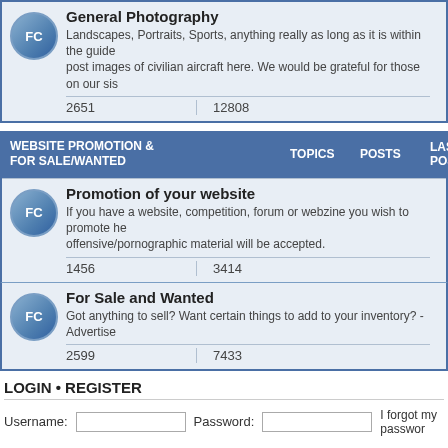General Photography
Landscapes, Portraits, Sports, anything really as long as it is within the guidelines. Please post images of civilian aircraft here. We would be grateful for those on our sis
|  | Topics | Posts |
| --- | --- | --- |
|  | 2651 | 12808 |
WEBSITE PROMOTION & FOR SALE/WANTED   TOPICS   POSTS   LAST POST
Promotion of your website
If you have a website, competition, forum or webzine you wish to promote here. No offensive/pornographic material will be accepted.
|  | Topics | Posts |
| --- | --- | --- |
|  | 1456 | 3414 |
For Sale and Wanted
Got anything to sell? Want certain things to add to your inventory? - Advertise
|  | Topics | Posts |
| --- | --- | --- |
|  | 2599 | 7433 |
LOGIN • REGISTER
Username:   Password:   I forgot my password
WHO IS ONLINE
In total there are 425 users online :: 74 registered, 3 hidden and 348 guests (based on u
Most users ever online was 2469 on Sat Nov 21, 2020 2:48 pm
STATISTICS